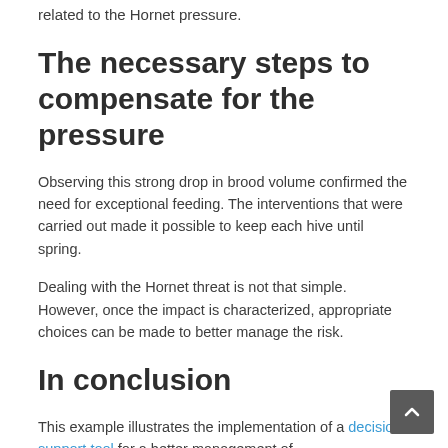related to the Hornet pressure.
The necessary steps to compensate for the pressure
Observing this strong drop in brood volume confirmed the need for exceptional feeding. The interventions that were carried out made it possible to keep each hive until spring.
Dealing with the Hornet threat is not that simple. However, once the impact is characterized, appropriate choices can be made to better manage the risk.
In conclusion
This example illustrates the implementation of a decision support tool for a better management of